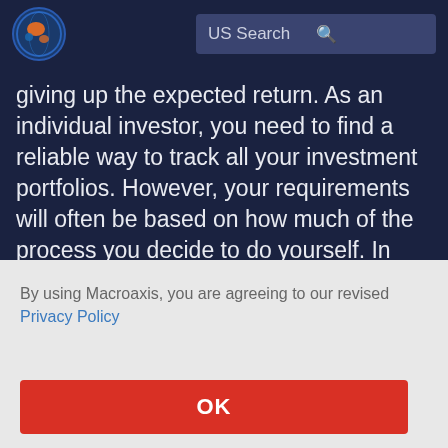[Figure (logo): Macroaxis logo - circular globe icon with orange and blue colors]
US Search
giving up the expected return. As an individual investor, you need to find a reliable way to track all your investment portfolios. However, your requirements will often be based on how much of the process you decide to do yourself. In addition to allowing all investors analytical transparency into all their portfolios, our tools can evaluate risk-adjusted
erall
By using Macroaxis, you are agreeing to our revised Privacy Policy
OK
Bond Analysis